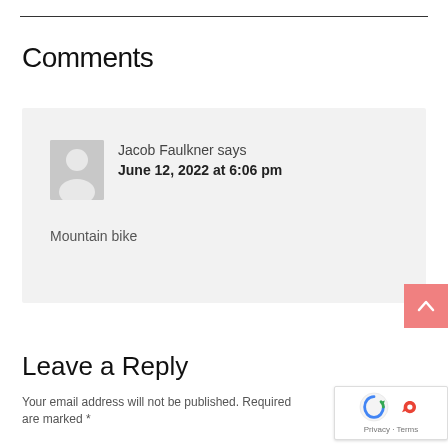Comments
Jacob Faulkner says
June 12, 2022 at 6:06 pm

Mountain bike
[Figure (illustration): Back to top arrow button (pink/salmon background with white upward chevron)]
Leave a Reply
Your email address will not be published. Required are marked *
[Figure (other): reCAPTCHA badge with Privacy - Terms text]